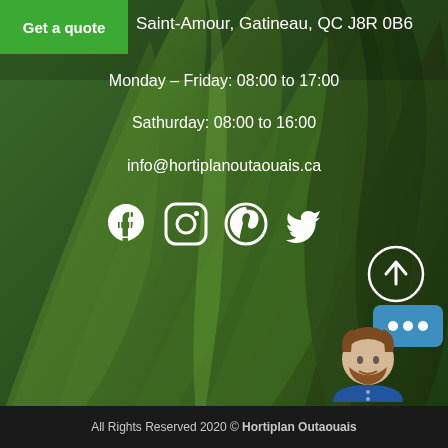[Figure (photo): Background photo of green plant leaves/grass blades, close-up, dark green tones]
Get a quote
Saint-Amour, Gatineau, QC J8R 0B6
Monday – Friday: 08:00 to 17:00
Sathurday: 08:00 to 16:00
info@hortiplanoutaouais.ca
[Figure (illustration): Social media icons: Facebook, Instagram, Pinterest, Twitter — white icons]
[Figure (illustration): Scroll-to-top button: white circle with upward arrow]
[Figure (illustration): Chat widget: illustrated bearded man with blue shirt and speech bubble with dots]
All Rights Reserved 2020 © Hortiplan Outaouais